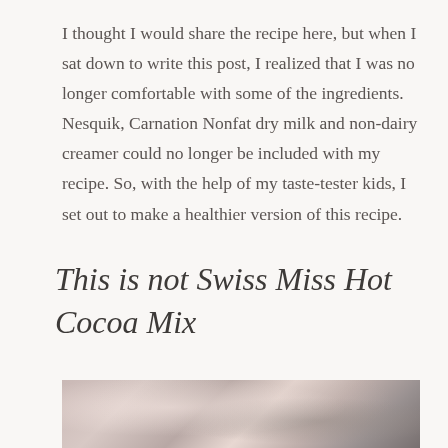I thought I would share the recipe here, but when I sat down to write this post, I realized that I was no longer comfortable with some of the ingredients. Nesquik, Carnation Nonfat dry milk and non-dairy creamer could no longer be included with my recipe. So, with the help of my taste-tester kids, I set out to make a healthier version of this recipe.
This is not Swiss Miss Hot Cocoa Mix
[Figure (photo): Blurred photograph of mason jars containing hot cocoa mix ingredients, with soft pink floral background tones]